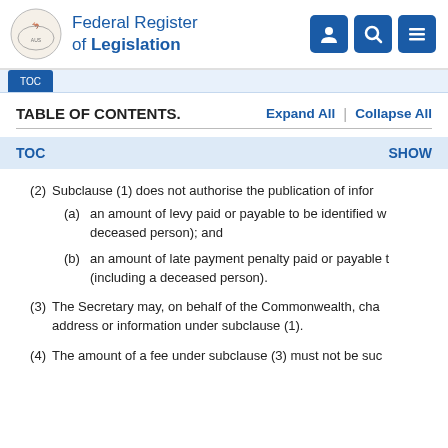Federal Register of Legislation
TABLE OF CONTENTS.  Expand All  |  Collapse All
TOC  SHOW
(2) Subclause (1) does not authorise the publication of infor...
(a) an amount of levy paid or payable to be identified w... deceased person); and
(b) an amount of late payment penalty paid or payable t... (including a deceased person).
(3) The Secretary may, on behalf of the Commonwealth, cha... address or information under subclause (1).
(4) The amount of a fee under subclause (3) must not be suc...